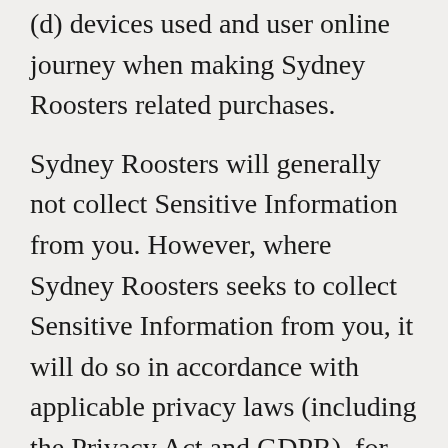(d) devices used and user online journey when making Sydney Roosters related purchases.
Sydney Roosters will generally not collect Sensitive Information from you. However, where Sydney Roosters seeks to collect Sensitive Information from you, it will do so in accordance with applicable privacy laws (including the Privacy Act and GDPR), for instance by obtaining your express consent for such a collection.
In addition to Personal Information, we use cookies, web beacons and other technologies on